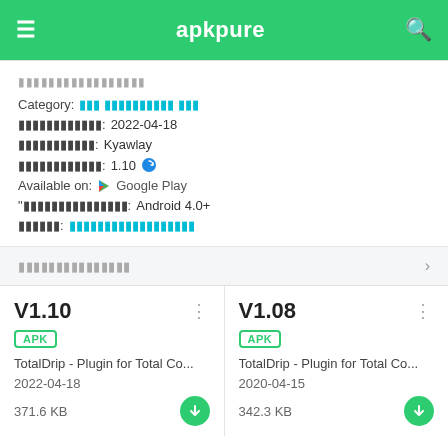apkpure
Category: [localized text] | Date: 2022-04-18 | Developer: Kyawlay | Version: 1.10 | Available on: Google Play | Requires: Android 4.0+ | Policy: [localized link]
[localized: version history]
V1.10 | APK | TotalDrip - Plugin for Total Co... | 2022-04-18 | 371.6 KB
V1.08 | APK | TotalDrip - Plugin for Total Co... | 2020-04-15 | 342.3 KB